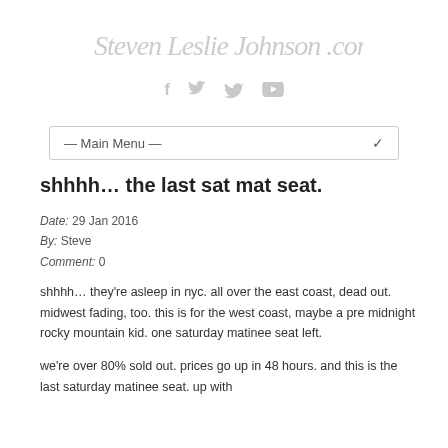[Figure (logo): Handwritten-style cursive logo reading 'Steven Leslie Johnson .com']
[Figure (infographic): Three social media icons: Facebook (f), Twitter (bird), YouTube (play button), rendered in light gray]
[Figure (screenshot): Navigation dropdown menu labeled '— Main Menu —' with a chevron arrow on the right]
shhhh… the last sat mat seat.
Date:  29 Jan 2016
By:  Steve
Comment:  0
shhhh… they're asleep in nyc. all over the east coast, dead out. midwest fading, too. this is for the west coast, maybe a pre midnight rocky mountain kid. one saturday matinee seat left.
we're over 80% sold out. prices go up in 48 hours. and this is the last saturday matinee seat. up with